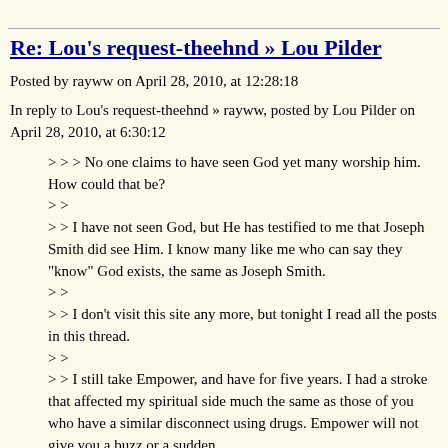Re: Lou's request-theehnd » Lou Pilder
Posted by rayww on April 28, 2010, at 12:28:18
In reply to Lou's request-theehnd » rayww, posted by Lou Pilder on April 28, 2010, at 6:30:12
> > > No one claims to have seen God yet many worship him. How could that be?
> >
> > I have not seen God, but He has testified to me that Joseph Smith did see Him. I know many like me who can say they "know" God exists, the same as Joseph Smith.
> >
> > I don't visit this site any more, but tonight I read all the posts in this thread.
> >
> > I still take Empower, and have for five years. I had a stroke that affected my spiritual side much the same as those of you who have a similar disconnect using drugs. Empower will not give you a buzz or a sudden